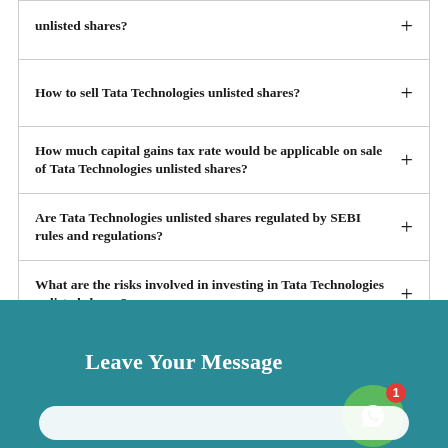unlisted shares?
How to sell Tata Technologies unlisted shares?
How much capital gains tax rate would be applicable on sale of Tata Technologies unlisted shares?
Are Tata Technologies unlisted shares regulated by SEBI rules and regulations?
What are the risks involved in investing in Tata Technologies unlisted shares?
Can NRI's buy Tata Technologies shares?
Leave Your Message